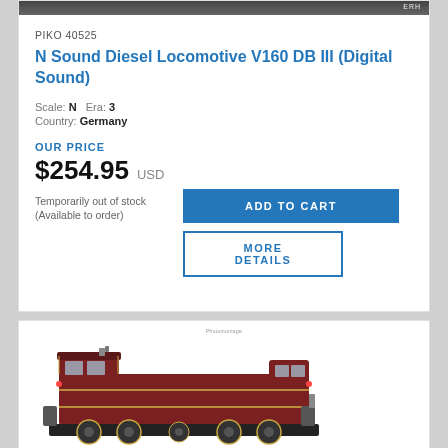[Figure (photo): Top strip of a model locomotive photo with ERH watermark]
PIKO 40525
N Sound Diesel Locomotive V160 DB III (Digital Sound)
Scale: N   Era: 3
Country: Germany
OUR PRICE
$254.95 USD
Temporarily out of stock
(Available to order)
[Figure (photo): Model locomotive dark red/maroon V60 diesel locomotive on white background, with Photomontage label]